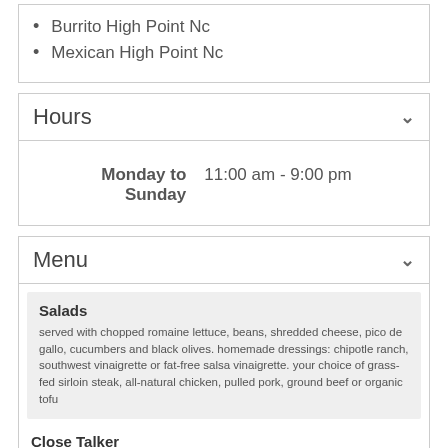Burrito High Point Nc
Mexican High Point Nc
Hours
Monday to Sunday   11:00 am - 9:00 pm
Menu
Salads
served with chopped romaine lettuce, beans, shredded cheese, pico de gallo, cucumbers and black olives. homemade dressings: chipotle ranch, southwest vinaigrette or fat-free salsa vinaigrette. your choice of grass-fed sirloin steak, all-natural chicken, pulled pork, ground beef or organic tofu
Close Talker
with any of our fresh, free ingredients
Personal Trainer
with any of our fresh, free ingredients